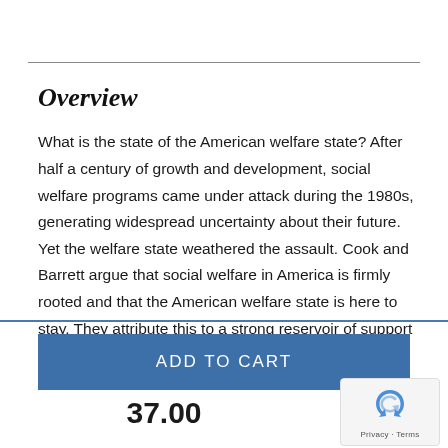Overview
What is the state of the American welfare state? After half a century of growth and development, social welfare programs came under attack during the 1980s, generating widespread uncertainty about their future. Yet the welfare state weathered the assault. Cook and Barrett argue that social welfare in America is firmly rooted and that the American welfare state is here to stay. They attribute this to a strong reservoir of support on the part of both policymakers and the general public.
ADD TO CART
37.00